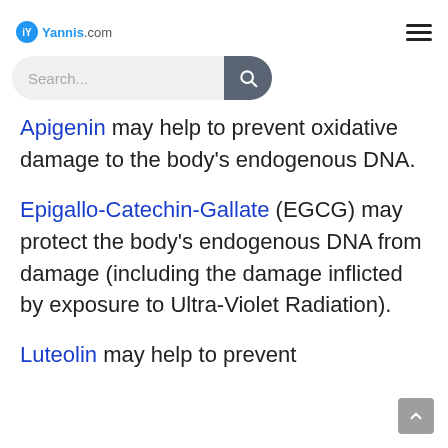iY Yannis.com
Apigenin may help to prevent oxidative damage to the body's endogenous DNA.
Epigallo-Catechin-Gallate (EGCG) may protect the body's endogenous DNA from damage (including the damage inflicted by exposure to Ultra-Violet Radiation).
Luteolin may help to prevent